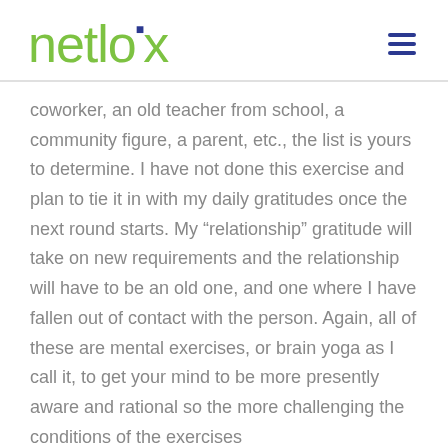netlogx
coworker, an old teacher from school, a community figure, a parent, etc., the list is yours to determine. I have not done this exercise and plan to tie it in with my daily gratitudes once the next round starts. My “relationship” gratitude will take on new requirements and the relationship will have to be an old one, and one where I have fallen out of contact with the person. Again, all of these are mental exercises, or brain yoga as I call it, to get your mind to be more presently aware and rational so the more challenging the conditions of the exercises